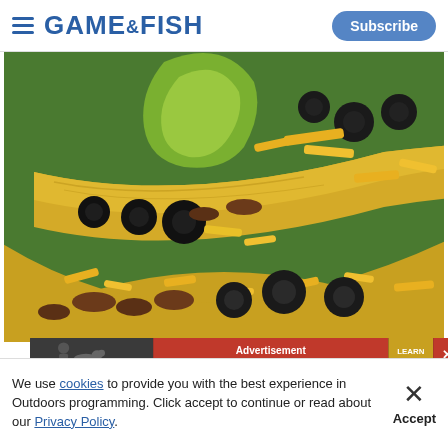GAME & FISH — Subscribe
[Figure (photo): Close-up photo of tacos/nachos with black olives, shredded yellow cheese, guacamole, and taco shells on a green plate]
Ve[nison Tacos] (partial title visible)
[Figure (screenshot): Advertisement banner: image of a dog on the left, red section with text 'Advertisement' and 'YOUR DOG IS OVERHEATED', yellow 'LEARN MORE' button, red X close button]
We use cookies to provide you with the best experience in Outdoors programming. Click accept to continue or read about our Privacy Policy.